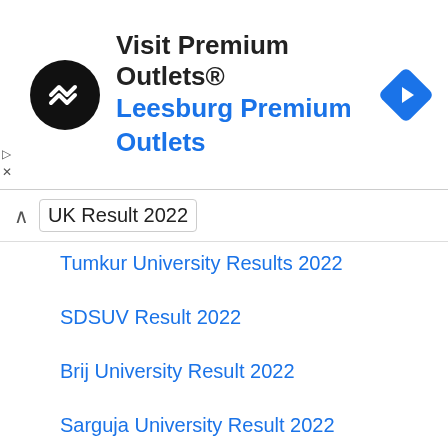[Figure (other): Advertisement banner for Visit Premium Outlets / Leesburg Premium Outlets with logo and navigation icon]
UK Result 2022
Tumkur University Results 2022
SDSUV Result 2022
Brij University Result 2022
Sarguja University Result 2022
IGU Result 2022
MGSU Result 2022